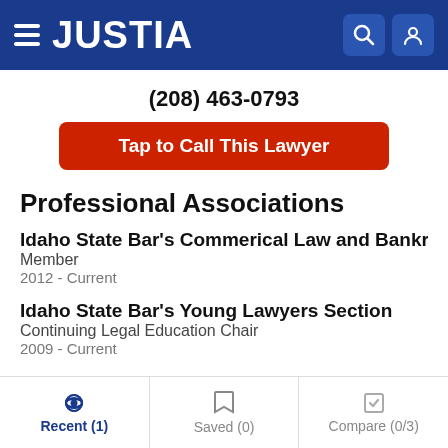JUSTIA
(208) 463-0793
Tap to Call This Lawyer
Professional Associations
Idaho State Bar's Commerical Law and Bankruptcy S
Member
2012 - Current
Idaho State Bar's Young Lawyers Section
Continuing Legal Education Chair
2009 - Current
Recent (1)   Saved (0)   Compare (0/3)